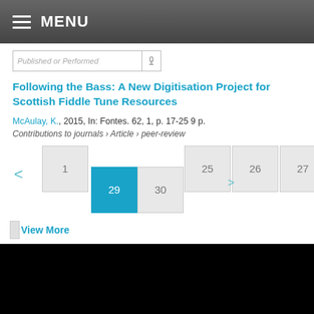MENU
Published or Performed
Following the Bass: A New Digitisation Project for Scottish Fiddle Tune Resources
McAulay, K., 2015, In: Fontes. 62, 1, p. 17-25 9 p.
Contributions to journals › Article › peer-review
[Figure (other): Pagination controls showing pages: < 1 25 29(active) 30 26 27 28 >]
View More